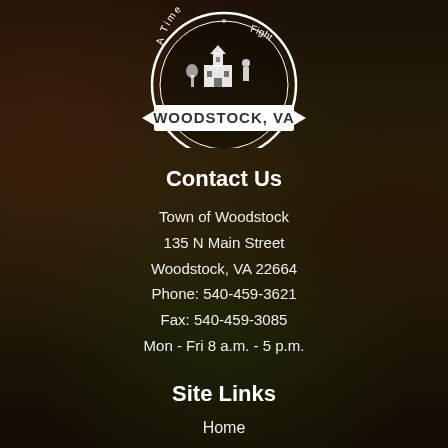[Figure (logo): Woodstock VA town seal/logo — circular emblem with a ribbon banner reading WOODSTOCK, VA and EST. 1752, showing a building and figure inside the circle. Partial top of circle visible with text 'A Time' and 'Fight'.]
Contact Us
Town of Woodstock
135 N Main Street
Woodstock, VA 22664
Phone: 540-459-3621
Fax: 540-459-3085
Mon - Fri 8 a.m. - 5 p.m.
Site Links
Home
Site Map
Contact Us